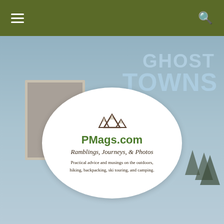PMags.com navigation header with hamburger menu and search icon
[Figure (photo): Hero background image showing a snowy outdoor/mountain scene with Ghost Towns billboard text overlay]
[Figure (logo): PMags.com oval logo with mountain graphic, site name, tagline 'Ramblings, Journeys, & Photos' and subtitle 'Practical advice and musings on the outdoors, hiking, backpacking, ski touring, and camping.']
[Figure (infographic): Social media icon buttons: Facebook, Twitter, RSS, Pinterest, YouTube, Instagram]
[Figure (photo): Book cover strip showing partial text 'ountry Runs in Colorado's']
This site uses cookies. By continuing to browse the site you are agreeing to the use of cookies. Please read the Privacy Policy for additional details.
OK   Read more
Home » Books and Media »
Powder Ghost Towns